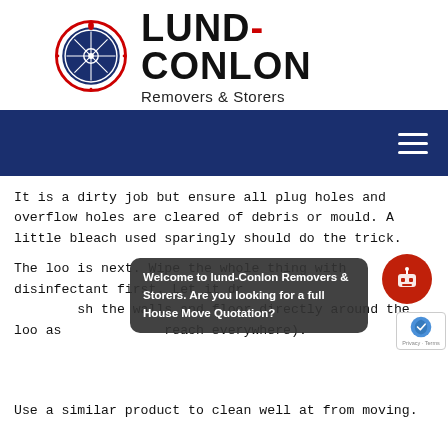[Figure (logo): Lund-Conlon Removers & Storers logo with circular emblem and company name]
[Figure (other): Dark navy navigation bar with hamburger menu icon on right]
It is a dirty job but ensure all plug holes and overflow holes are cleared of debris or mould. A little bleach used sparingly should do the trick.
The loo is next. Wipe the whole thing with disinfectant first. Let it dry. Then use a dedicated brush to wash the walls and floor directly around the loo as well (try to reach everywhere).
[Figure (screenshot): Chat bot popup with text: Welcome to lund-Conlon Removers & Storers. Are you looking for a full House Move Quotation?]
Use a similar product to clean well at from moving.